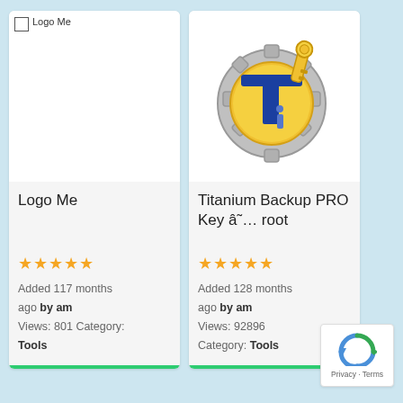[Figure (screenshot): App card for 'Logo Me' showing a broken image placeholder in the top, app title 'Logo Me', 5 star rating, Added 117 months ago by am, Views: 801 Category: Tools, with green bottom bar]
[Figure (screenshot): App card for 'Titanium Backup PRO Key ã˜… root' showing the Titanium Backup app icon (gear with gold Ti and key), 5 star rating, Added 128 months ago by am, Views: 92896, Category: Tools, with green bottom bar]
[Figure (logo): Google reCAPTCHA widget bottom right corner showing reCAPTCHA logo and Privacy - Terms text]